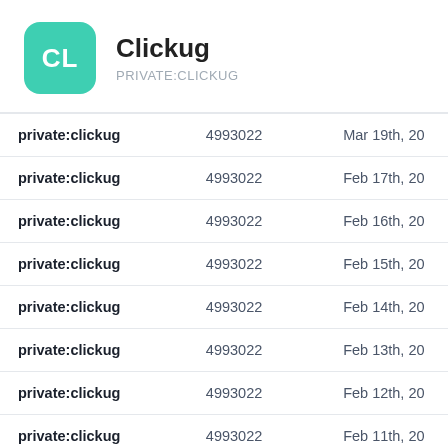Clickug
PRIVATE:CLICKUG
| private:clickug | 4993022 | Mar 19th, 20 |
| private:clickug | 4993022 | Feb 17th, 20 |
| private:clickug | 4993022 | Feb 16th, 20 |
| private:clickug | 4993022 | Feb 15th, 20 |
| private:clickug | 4993022 | Feb 14th, 20 |
| private:clickug | 4993022 | Feb 13th, 20 |
| private:clickug | 4993022 | Feb 12th, 20 |
| private:clickug | 4993022 | Feb 11th, 20 |
| private:clickug | 4993022 | Feb 10th, 20 |